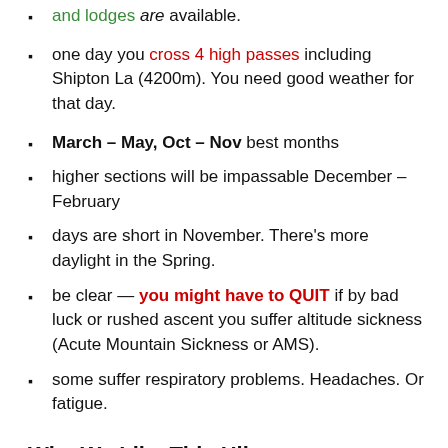one day you cross 4 high passes including Shipton La (4200m). You need good weather for that day.
March – May, Oct – Nov best months
higher sections will be impassable December – February
days are short in November. There's more daylight in the Spring.
be clear — you might have to QUIT if by bad luck or rushed ascent you suffer altitude sickness (Acute Mountain Sickness or AMS).
some suffer respiratory problems. Headaches. Or fatigue.
Why We Like This Hike